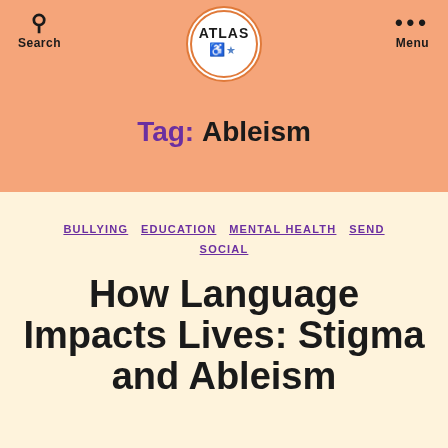Search | ATLAS | Menu
Tag: Ableism
BULLYING  EDUCATION  MENTAL HEALTH  SEND  SOCIAL
How Language Impacts Lives: Stigma and Ableism